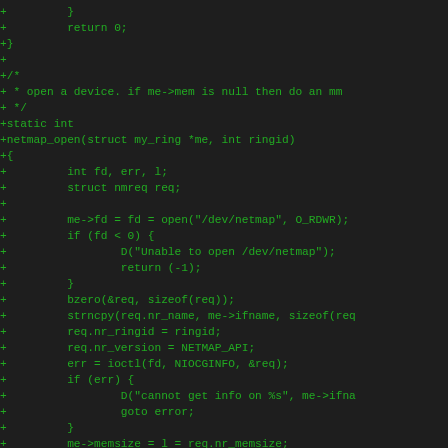[Figure (screenshot): Source code diff showing C code for netmap_open function with green diff lines on dark background]